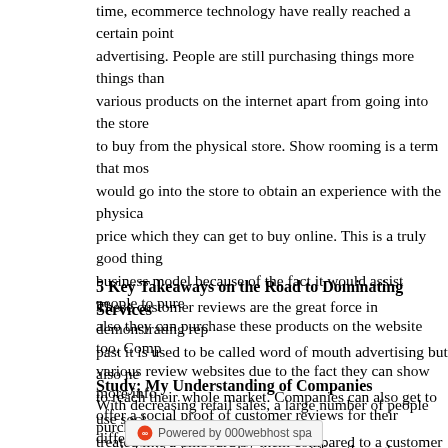time, ecommerce technology have really reached a certain point advertising. People are still purchasing things more things than various products on the internet apart from going into the store to buy from the physical store. Show rooming is a term that most would go into the store to obtain an experience with the physical price which they can get to buy online. This is a truly good thing business model because of the fact it would assist people to purchase also they can purchase these products on the website too. Companies various review websites due to the fact they can show more information offer a social proof of customer reviews for their different clients.
5 Key Takeaways on the Road to Dominating Services
These customer reviews are the great force in demonstrating reputation past it is used to be called word of mouth advertising but also need to reach their whole market. Companies can also get to use social media treated like a billboard by them compared to a customer interaction promote their products and also services to their clients.
Study: My Understanding of Companies
With decreasing retail sales, a large number of people purchasing marketing tactics smashing competition through advertising space